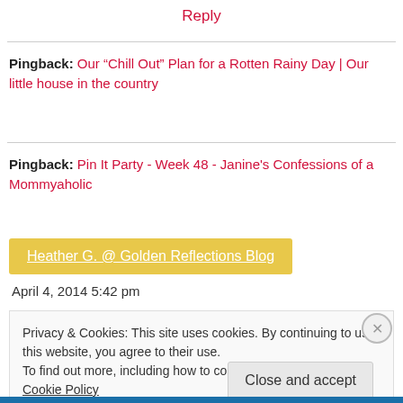Reply
Pingback: Our “Chill Out” Plan for a Rotten Rainy Day | Our little house in the country
Pingback: Pin It Party - Week 48 - Janine's Confessions of a Mommyaholic
Heather G. @ Golden Reflections Blog
April 4, 2014 5:42 pm
Privacy & Cookies: This site uses cookies. By continuing to use this website, you agree to their use.
To find out more, including how to control cookies, see here: Cookie Policy
Close and accept